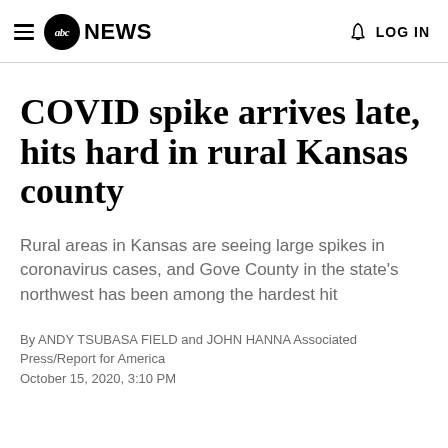abc NEWS   LOG IN
COVID spike arrives late, hits hard in rural Kansas county
Rural areas in Kansas are seeing large spikes in coronavirus cases, and Gove County in the state's northwest has been among the hardest hit
By ANDY TSUBASA FIELD and JOHN HANNA Associated Press/Report for America
October 15, 2020, 3:10 PM